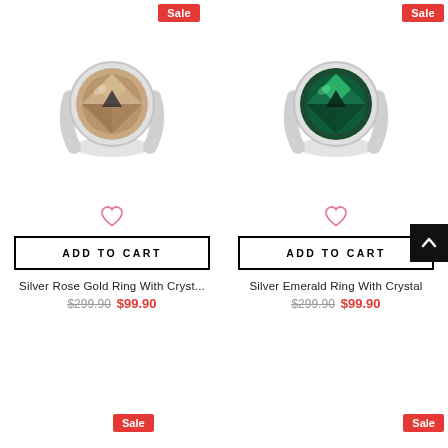[Figure (photo): Silver ring with rose gold crystal stone on white background]
[Figure (photo): Silver ring with emerald green crystal stone on white background]
ADD TO CART
ADD TO CART
Silver Rose Gold Ring With Cryst...
Silver Emerald Ring With Crystal
$299.90  $99.90
$299.90  $99.90